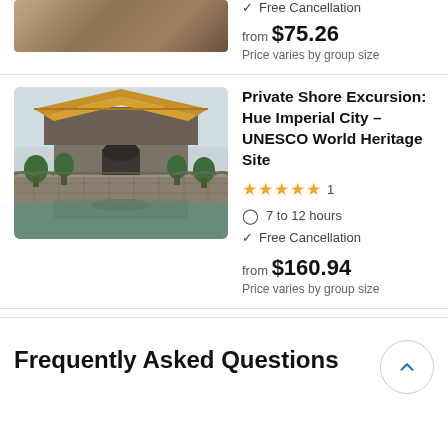[Figure (photo): Partial view of a stone/rocky texture or architectural surface - top card thumbnail, cropped]
✓ Free Cancellation
from $75.26
Price varies by group size
[Figure (photo): Hue Imperial City - UNESCO World Heritage Site. A traditional Vietnamese imperial palace with golden roof, surrounded by a moat with stone walls and topiary trees, reflecting in calm water.]
Private Shore Excursion: Hue Imperial City – UNESCO World Heritage Site
★★★★★ 1
7 to 12 hours
✓ Free Cancellation
from $160.94
Price varies by group size
Frequently Asked Questions